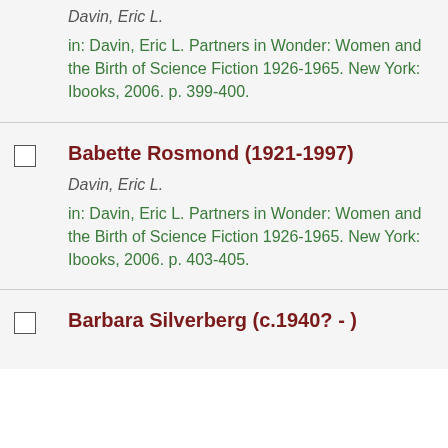Davin, Eric L.
in: Davin, Eric L. Partners in Wonder: Women and the Birth of Science Fiction 1926-1965. New York: Ibooks, 2006. p. 399-400.
Babette Rosmond (1921-1997)
Davin, Eric L.
in: Davin, Eric L. Partners in Wonder: Women and the Birth of Science Fiction 1926-1965. New York: Ibooks, 2006. p. 403-405.
Barbara Silverberg (c.1940? - )